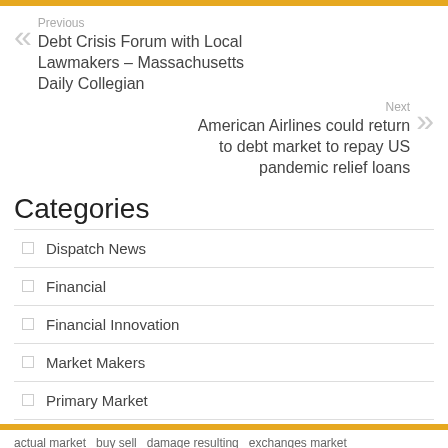Previous
Debt Crisis Forum with Local Lawmakers – Massachusetts Daily Collegian
Next
American Airlines could return to debt market to repay US pandemic relief loans
Categories
Dispatch News
Financial
Financial Innovation
Market Makers
Primary Market
actual market   buy sell   damage resulting   exchanges market   financial markets   fusion media   indices futures   information including